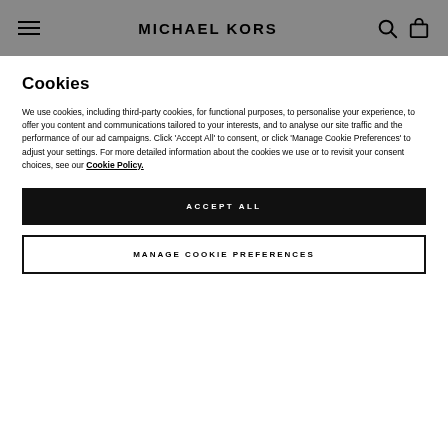MICHAEL KORS
Cookies
We use cookies, including third-party cookies, for functional purposes, to personalise your experience, to offer you content and communications tailored to your interests, and to analyse our site traffic and the performance of our ad campaigns. Click 'Accept All' to consent, or click 'Manage Cookie Preferences' to adjust your settings. For more detailed information about the cookies we use or to revisit your consent choices, see our Cookie Policy.
ACCEPT ALL
MANAGE COOKIE PREFERENCES